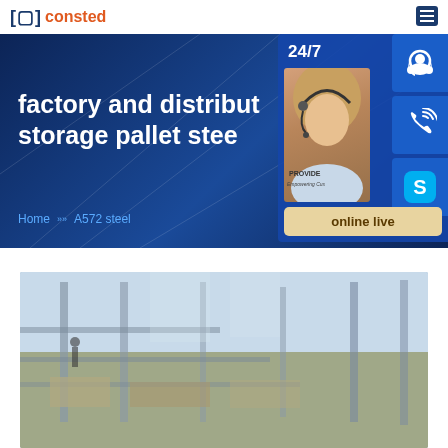Consted
[Figure (screenshot): Website hero banner with dark blue background showing 'factory and distribut... storage pallet stee...' text in white bold font, with breadcrumb navigation showing Home >> A572 steel. Overlaid with customer support widget showing 24/7 support, a woman with headset, phone/skype icons, and online live button. Below is a warehouse interior photograph showing steel storage structures.]